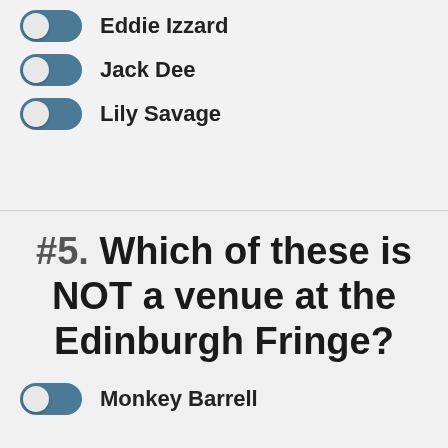Eddie Izzard
Jack Dee
Lily Savage
#5. Which of these is NOT a venue at the Edinburgh Fringe?
Monkey Barrell